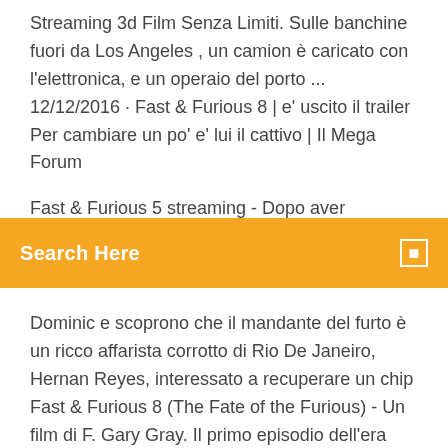Streaming 3d Film Senza Limiti. Sulle banchine fuori da Los Angeles , un camion è caricato con l'elettronica, e un operaio del porto ... 12/12/2016 · Fast & Furious 8 | e' uscito il trailer Per cambiare un po' e' lui il cattivo | Il Mega Forum
Fast & Furious 5 streaming - Dopo aver attaccato un bus di detenuti per permettere a Dominic Toretto di sfuggire alla
Search Here
Dominic e scoprono che il mandante del furto è un ricco affarista corrotto di Rio De Janeiro, Hernan Reyes, interessato a recuperare un chip Fast & Furious 8 (The Fate of the Furious) - Un film di F. Gary Gray. Il primo episodio dell'era post-Walker spinge su tutti gli acceleratori possibili, ma la magia non scatta. Con Vin Diesel, Dwayne Johnson, Jason Statham, Michelle Rodriguez, Tyrese Gibson. Thriller, USA, ... Fast & Furious 8 2017 Streaming ITA, Fast & Furious 8 2017 Streaming Altadefizione, Nowvideo, Rapidvideo, Openload, Cineblog01 Film Completo.